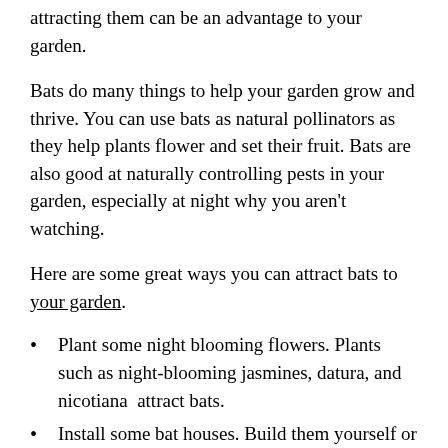attracting them can be an advantage to your garden.
Bats do many things to help your garden grow and thrive. You can use bats as natural pollinators as they help plants flower and set their fruit. Bats are also good at naturally controlling pests in your garden, especially at night why you aren't watching.
Here are some great ways you can attract bats to your garden.
Plant some night blooming flowers. Plants such as night-blooming jasmines, datura, and nicotiana  attract bats.
Install some bat houses. Build them yourself or purchase houses at the hardware store then place them around your garden.  This will encourage bats to stop and nest in your garden.
Add lights to your garden.  Lights will attract